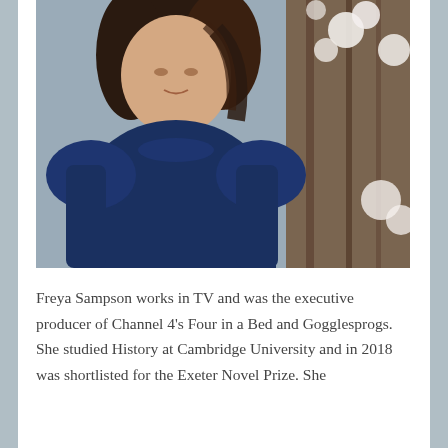[Figure (photo): Portrait photograph of Freya Sampson, a woman with dark brown hair wearing a navy blue long-sleeve top, standing outdoors in front of magnolia blossoms and a wooden trellis.]
Freya Sampson works in TV and was the executive producer of Channel 4's Four in a Bed and Gogglesprogs. She studied History at Cambridge University and in 2018 was shortlisted for the Exeter Novel Prize. She